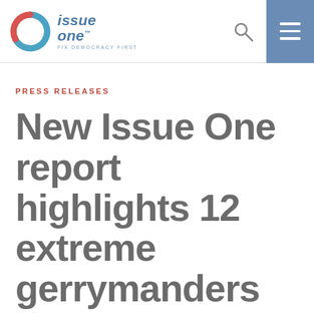[Figure (logo): Issue One logo with circular blue and red icon and text 'issue one™ FIX DEMOCRACY FIRST']
PRESS RELEASES
New Issue One report highlights 12 extreme gerrymanders